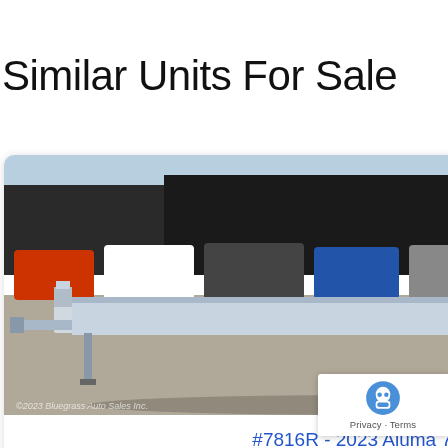Similar Units For Sale
[Figure (photo): Photo of a silver/aluminum flatbed car hauler trailer in a parking lot with cars in the background. Watermark text visible at bottom left.]
#7816R - 2023 Aluma 7816
PRICE: $9,195.00
$9,195.00 (strikethrough price shown, new lower price partially visible in red below)
[Figure (photo): Partial photo of a similar silver/aluminum flatbed trailer, same lot, cropped on the right side of the page.]
#7 (partially visible unit number/title)
[Figure (other): Google reCAPTCHA badge overlay with robot icon and 'Privacy · Terms' text]